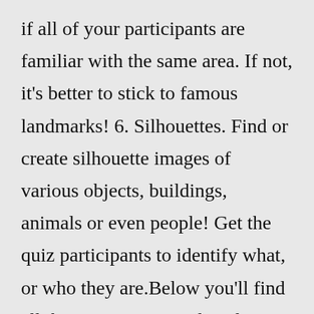if all of your participants are familiar with the same area. If not, it's better to stick to famous landmarks! 6. Silhouettes. Find or create silhouette images of various objects, buildings, animals or even people! Get the quiz participants to identify what, or who they are.Below you'll find all the quiz categories listed on our website. Animals Films Food and Drink Football General Knowledge Music Picture Pop Sports